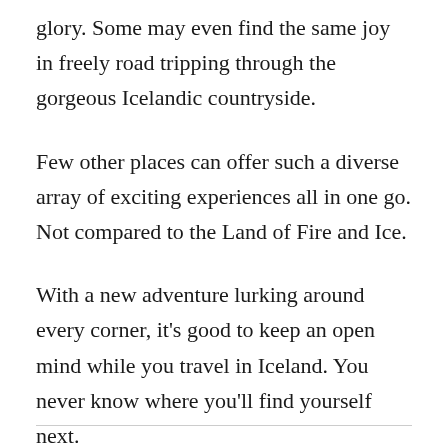glory. Some may even find the same joy in freely road tripping through the gorgeous Icelandic countryside.
Few other places can offer such a diverse array of exciting experiences all in one go. Not compared to the Land of Fire and Ice.
With a new adventure lurking around every corner, it's good to keep an open mind while you travel in Iceland. You never know where you'll find yourself next.